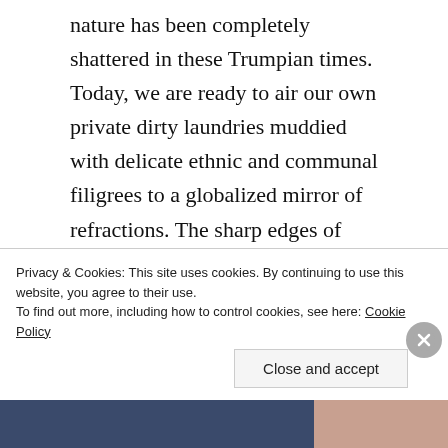nature has been completely shattered in these Trumpian times. Today, we are ready to air our own private dirty laundries muddied with delicate ethnic and communal filigrees to a globalized mirror of refractions. The sharp edges of shame are left behind in the process of peddling these divisions and without realizing as much, this personal streak becomes disturbingly political. Be it man or woman, aged and children, today this is the worldview that sums up our collective humanity consonant with our general, exclusionary, egotistical make up.
Privacy & Cookies: This site uses cookies. By continuing to use this website, you agree to their use.
To find out more, including how to control cookies, see here: Cookie Policy